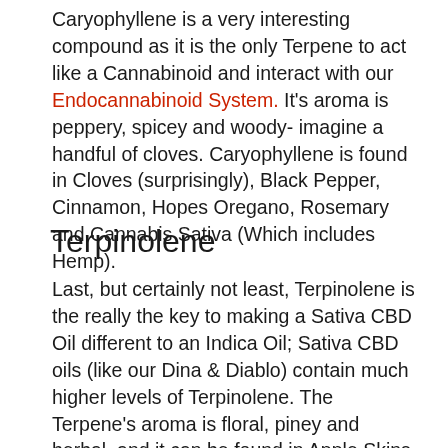Caryophyllene is a very interesting compound as it is the only Terpene to act like a Cannabinoid and interact with our Endocannabinoid System. It's aroma is peppery, spicey and woody- imagine a handful of cloves. Caryophyllene is found in Cloves (surprisingly), Black Pepper, Cinnamon, Hopes Oregano, Rosemary and Cannabis Sativa (Which includes Hemp).
Terpinolene
Last, but certainly not least, Terpinolene is the really the key to making a Sativa CBD Oil different to an Indica Oil; Sativa CBD oils (like our Dina & Diablo) contain much higher levels of Terpinolene. The Terpene's aroma is floral, piney and herbal, and it can be found in Apple Skins, Cardigans, Tea Tree Oil, Cumin, Lilacs and Cannabis.